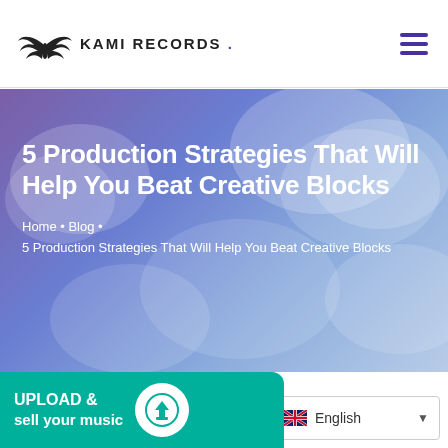KAMI RECORDS .
5 Production Strategies That Will Help You Beat Creative Blocks
Home • Blog • 5 Production Strategies That Will Help You Beat Creative Blocks
blog
UPLOAD & sell your music
English